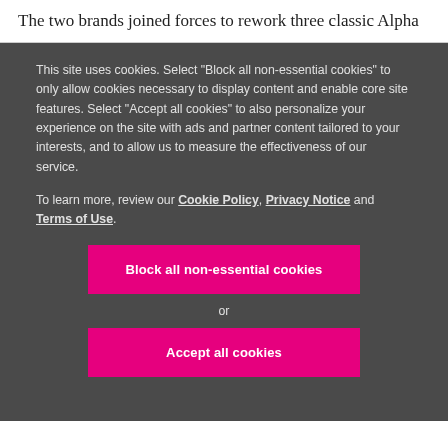The two brands joined forces to rework three classic Alpha
This site uses cookies. Select "Block all non-essential cookies" to only allow cookies necessary to display content and enable core site features. Select "Accept all cookies" to also personalize your experience on the site with ads and partner content tailored to your interests, and to allow us to measure the effectiveness of our service.
To learn more, review our Cookie Policy, Privacy Notice and Terms of Use.
Block all non-essential cookies
or
Accept all cookies